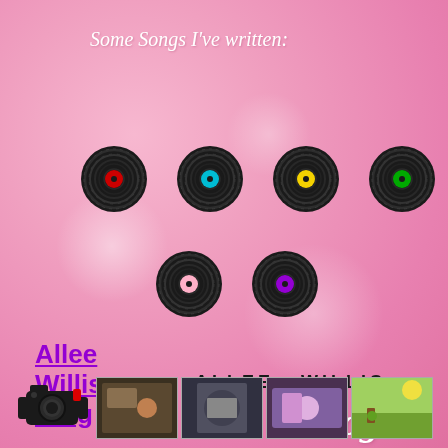Some Songs I've written:
[Figure (illustration): Seven vinyl record icons arranged in two rows (5 on top, 2 on bottom) on a pink bokeh background. Each record has a dark swirling body with a colored center: red, cyan, yellow, green, orange (top row); pink, purple (bottom row).]
Allee Willis Blog
ALLEE  WILLIS
Blog
[Figure (illustration): Bottom strip with a retro movie camera icon on the left, followed by four small thumbnail images of videos/photos.]